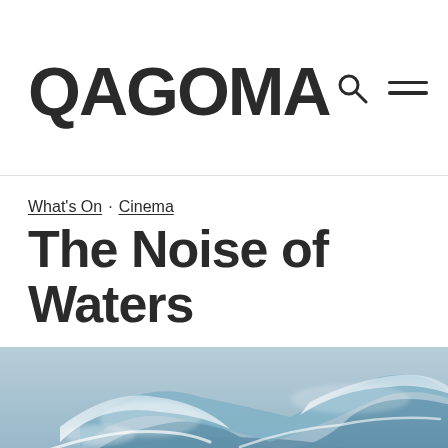QAGOMA
What's On · Cinema
The Noise of Waters
[Figure (photo): Large ocean wave with blue-grey water, foam and spray, close-up shot of a breaking wave]